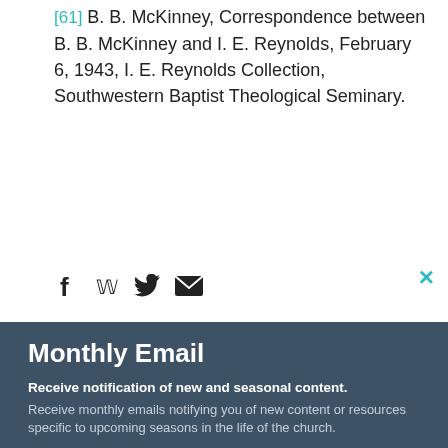[61] B. B. McKinney, Correspondence between B. B. McKinney and I. E. Reynolds, February 6, 1943, I. E. Reynolds Collection, Southwestern Baptist Theological Seminary.
[Figure (other): Social sharing icons: Facebook, Twitter, Email]
×
Monthly Email
Receive notification of new and seasonal content.
Receive monthly emails notifying you of new content or resources specific to upcoming seasons in the life of the church.
John (first name input placeholder)
Smith (last name input placeholder)
johnsmith@example.com (email input placeholder)
Submit